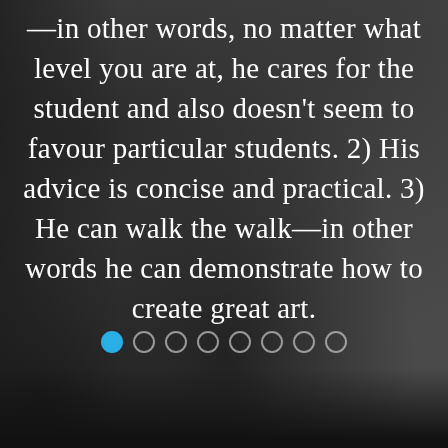—in other words, no matter what level you are at, he cares for the student and also doesn't seem to favour particular students. 2) His advice is concise and practical. 3) He can walk the walk—in other words he can demonstrate how to create great art.
[Figure (other): Pagination dots: 8 circles in a row, the first filled with blue, the rest as empty outlines]